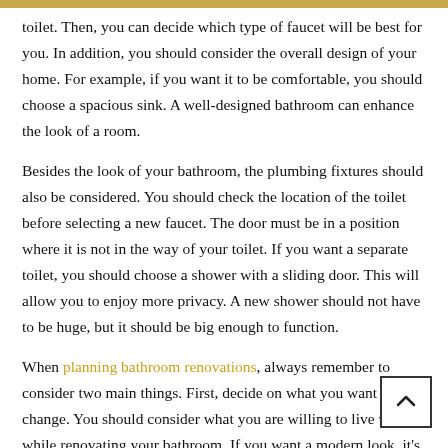toilet. Then, you can decide which type of faucet will be best for you. In addition, you should consider the overall design of your home. For example, if you want it to be comfortable, you should choose a spacious sink. A well-designed bathroom can enhance the look of a room.
Besides the look of your bathroom, the plumbing fixtures should also be considered. You should check the location of the toilet before selecting a new faucet. The door must be in a position where it is not in the way of your toilet. If you want a separate toilet, you should choose a shower with a sliding door. This will allow you to enjoy more privacy. A new shower should not have to be huge, but it should be big enough to function.
When planning bathroom renovations, always remember to consider two main things. First, decide on what you want to change. You should consider what you are willing to live with while renovating your bathroom. If you want a modern look, it's best to opt for a modern vanity. Otherwise, you have to shift your bedroom. In this case, you should choose a bathroom that